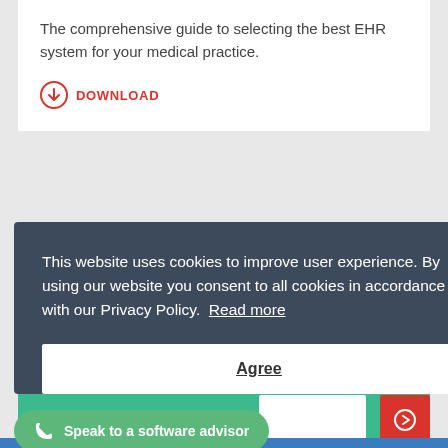The comprehensive guide to selecting the best EHR system for your medical practice.
DOWNLOAD
Sign up to our newsletter
This website uses cookies to improve user experience. By using our website you consent to all cookies in accordance with our Privacy Policy.  Read more
Agree
Speak to a software advisor